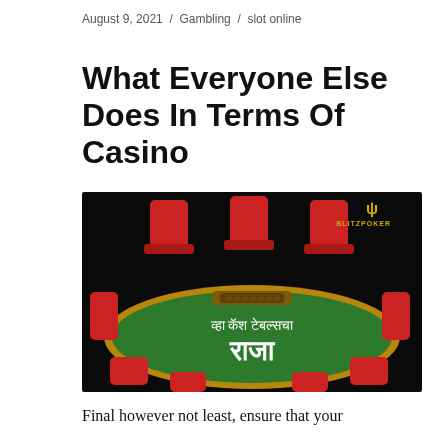August 9, 2021 / Gambling / slot online
What Everyone Else Does In Terms Of Casino
[Figure (photo): A 3D rendering of a poker/casino cash game table with green felt and gold border, with red chairs around it. Text in Marathi reads 'व्हा कॅश टेबल्सचा राजा'. BlitzPoker logo in top right corner.]
Final however not least, ensure that your